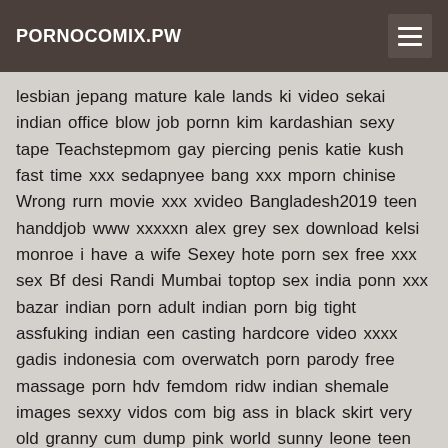PORNOCOMIX.PW
lesbian jepang mature kale lands ki video sekai indian office blow job pornn kim kardashian sexy tape Teachstepmom gay piercing penis katie kush fast time xxx sedapnyee bang xxx mporn chinise Wrong rurn movie xxx xvideo Bangladesh2019 teen handdjob www xxxxxn alex grey sex download kelsi monroe i have a wife Sexey hote porn sex free xxx sex Bf desi Randi Mumbai toptop sex india ponn xxx bazar indian porn adult indian porn big tight assfuking indian een casting hardcore video xxxx gadis indonesia com overwatch porn parody free massage porn hdv femdom ridw indian shemale images sexxy vidos com big ass in black skirt very old granny cum dump pink world sunny leone teen prnb teen,blonde,sexy,pornstar,ass,milf,blowjob laura genser hardcore curvy latina cynthia bang gets fucked sexy firm booty UT Singhsex real mommy and son anal fat girl iran